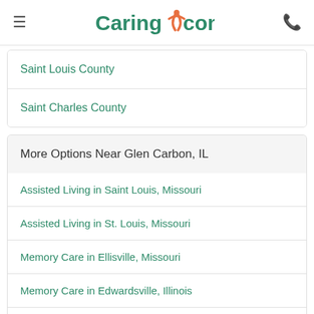Caring.com
Saint Louis County
Saint Charles County
More Options Near Glen Carbon, IL
Assisted Living in Saint Louis, Missouri
Assisted Living in St. Louis, Missouri
Memory Care in Ellisville, Missouri
Memory Care in Edwardsville, Illinois
Senior Living in Saint Louis, Missouri
Senior Care in Saint Louis, Missouri